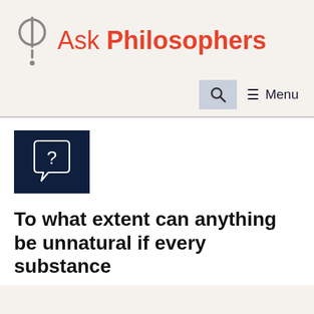[Figure (logo): Ask Philosophers logo with phi symbol and exclamation mark in gray, followed by 'Ask Philosophers' text in red/coral]
[Figure (other): Search icon (magnifying glass) in a gray/blue square button]
☰ Menu
[Figure (illustration): Dark navy blue square with a speech bubble containing a question mark outline in white]
To what extent can anything be unnatural if every substance